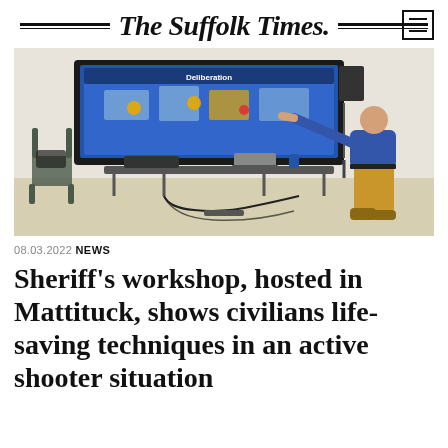The Suffolk Times.
[Figure (photo): A man in a blue polo shirt and khaki pants points at a large screen displaying a slide titled 'Deliberation' showing a floor plan diagram. A folding table with a laptop and projector is in front of the screen. A folding chair sits to the left.]
08.03.2022 NEWS
Sheriff's workshop, hosted in Mattituck, shows civilians life-saving techniques in an active shooter situation